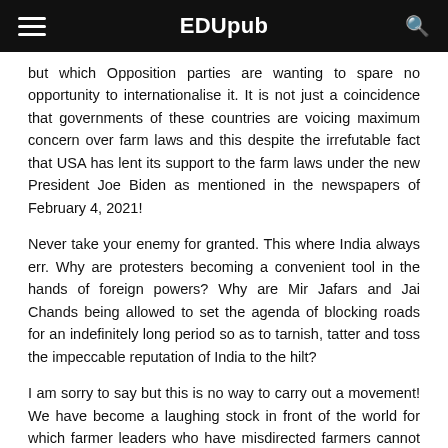EDUpub
but which Opposition parties are wanting to spare no opportunity to internationalise it. It is not just a coincidence that governments of these countries are voicing maximum concern over farm laws and this despite the irrefutable fact that USA has lent its support to the farm laws under the new President Joe Biden as mentioned in the newspapers of February 4, 2021!
Never take your enemy for granted. This where India always err. Why are protesters becoming a convenient tool in the hands of foreign powers? Why are Mir Jafars and Jai Chands being allowed to set the agenda of blocking roads for an indefinitely long period so as to tarnish, tatter and toss the impeccable reputation of India to the hilt?
I am sorry to say but this is no way to carry out a movement! We have become a laughing stock in front of the world for which farmer leaders who have misdirected farmers cannot escape from being held accountable. Why farmer leaders